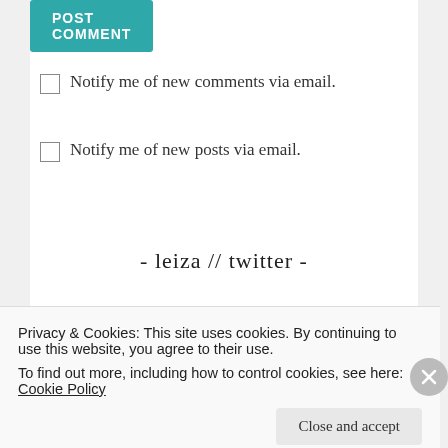POST COMMENT
Notify me of new comments via email.
Notify me of new posts via email.
- leiza // twitter -
[Figure (other): Twitter profile card showing avatar photo of Leiza, name 'Leiza', and Twitter bird icon]
Privacy & Cookies: This site uses cookies. By continuing to use this website, you agree to their use.
To find out more, including how to control cookies, see here: Cookie Policy
Close and accept